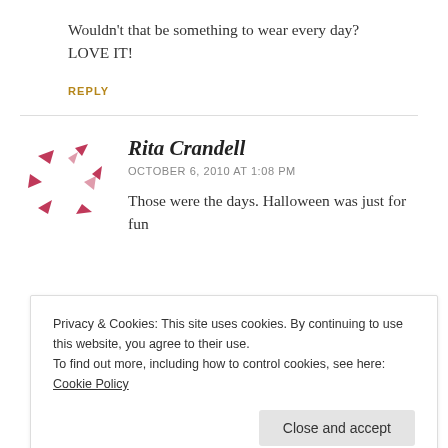Wouldn't that be something to wear every day? LOVE IT!
REPLY
Rita Crandell
OCTOBER 6, 2010 AT 1:08 PM
Those were the days. Halloween was just for fun
Privacy & Cookies: This site uses cookies. By continuing to use this website, you agree to their use.
To find out more, including how to control cookies, see here: Cookie Policy
Close and accept
around their own neighborhood and the